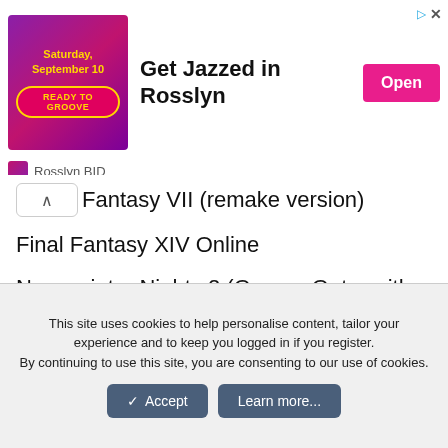[Figure (screenshot): Advertisement banner for 'Get Jazzed in Rosslyn' event on Saturday, September 10. Purple/pink gradient image on left with 'READY TO GROOVE' badge in gold, bold text 'Get Jazzed in Rosslyn', pink 'Open' button on right. Rosslyn BID branding below.]
Fantasy VII (remake version)
Final Fantasy XIV Online
Neverwinter Nights 2 (GamersGate, with all expansions)
Far Cry 3
I also own 30 games from GOG but am too tired to list them.
This site uses cookies to help personalise content, tailor your experience and to keep you logged in if you register. By continuing to use this site, you are consenting to our use of cookies. [Accept] [Learn more...]